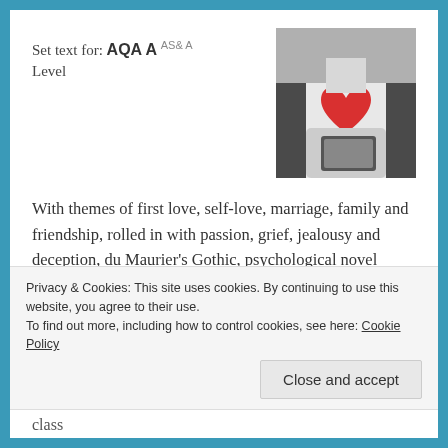Set text for: AQA A AS& A Level
[Figure (photo): Black and white photo of a person holding a smartphone, wearing a white t-shirt with a red heart on it]
With themes of first love, self-love, marriage, family and friendship, rolled in with passion, grief, jealousy and deception, du Maurier's Gothic, psychological novel Rebecca is a perfect fit for 'Love Through the Ages'. Subtle horror, murder and mystery combine with vivid and beautifully written descriptions, making it a
Privacy & Cookies: This site uses cookies. By continuing to use this website, you agree to their use.
To find out more, including how to control cookies, see here: Cookie Policy
Close and accept
class